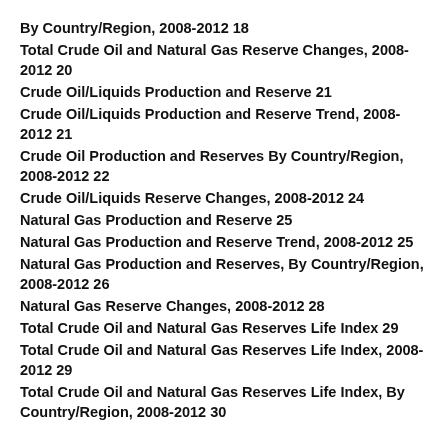By Country/Region, 2008-2012 18
Total Crude Oil and Natural Gas Reserve Changes, 2008-2012 20
Crude Oil/Liquids Production and Reserve 21
Crude Oil/Liquids Production and Reserve Trend, 2008-2012 21
Crude Oil Production and Reserves By Country/Region, 2008-2012 22
Crude Oil/Liquids Reserve Changes, 2008-2012 24
Natural Gas Production and Reserve 25
Natural Gas Production and Reserve Trend, 2008-2012 25
Natural Gas Production and Reserves, By Country/Region, 2008-2012 26
Natural Gas Reserve Changes, 2008-2012 28
Total Crude Oil and Natural Gas Reserves Life Index 29
Total Crude Oil and Natural Gas Reserves Life Index, 2008-2012 29
Total Crude Oil and Natural Gas Reserves Life Index, By Country/Region, 2008-2012 30